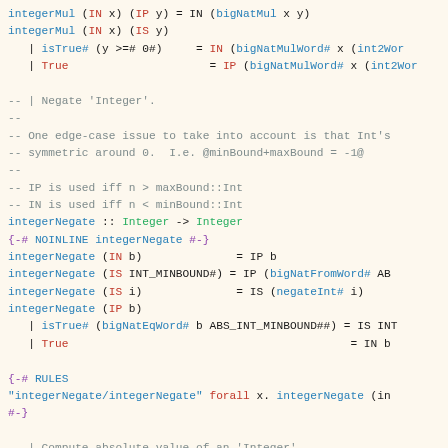integerMul (IN x) (IP y) = IN (bigNatMul x y)
integerMul (IN x) (IS y)
  | isTrue# (y >=# 0#) = IN (bigNatMulWord# x (int2Wor
  | True               = IP (bigNatMulWord# x (int2Wor

-- | Negate 'Integer'.
--
-- One edge-case issue to take into account is that Int's
-- symmetric around 0. I.e. @minBound+maxBound = -1@
--
-- IP is used iff n > maxBound::Int
-- IN is used iff n < minBound::Int
integerNegate :: Integer -> Integer
{-# NOINLINE integerNegate #-}
integerNegate (IN b)           = IP b
integerNegate (IS INT_MINBOUND#) = IP (bigNatFromWord# AB
integerNegate (IS i)           = IS (negateInt# i)
integerNegate (IP b)
  | isTrue# (bigNatEqWord# b ABS_INT_MINBOUND##) = IS INT
  | True                                         = IN b

{-# RULES
"integerNegate/integerNegate" forall x. integerNegate (in
#-}

-- | Compute absolute value of an 'Integer'
integerAbs :: Integer -> Integer
{-# NOINLINE integerAbs #-}
integerAbs  (IN i)   = IP i
integerAbs n@(IP _)  = n